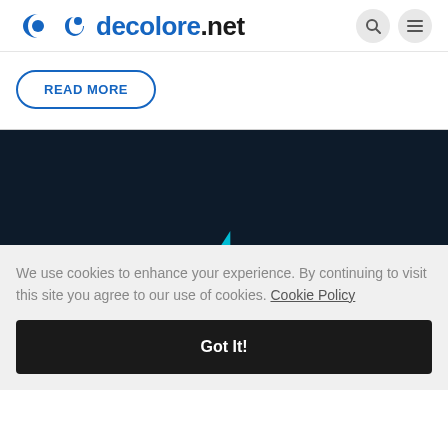decolore.net
READ MORE
[Figure (illustration): Dark navy background image with a small cyan/teal triangular accent at the bottom center]
We use cookies to enhance your experience. By continuing to visit this site you agree to our use of cookies. Cookie Policy
Got It!